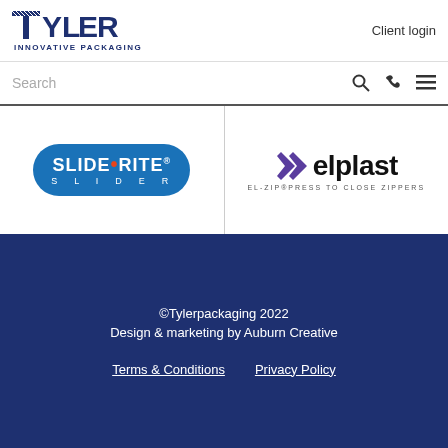[Figure (logo): Tyler Innovative Packaging logo — bold navy letter wordmark with diagonal stripe pattern, subtitle INNOVATIVE PACKAGING]
Client login
Search
[Figure (logo): SLIDE-RITE SLIDER logo — white bold text on blue rounded rectangle badge with red bullet detail and registered trademark symbol]
[Figure (logo): elplast logo — purple arrow chevron followed by bold lowercase 'elplast', subtitle EL-ZIP PRESS TO CLOSE ZIPPERS]
©Tylerpackaging 2022
Design & marketing by Auburn Creative
Terms & Conditions   Privacy Policy